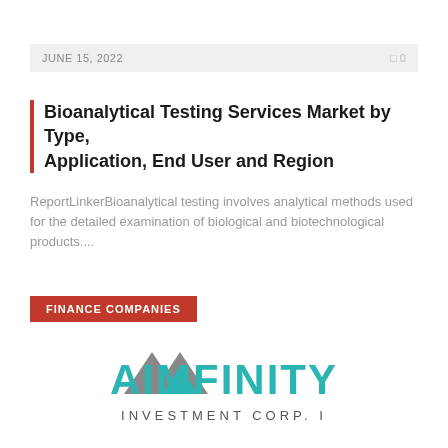JUNE 15, 2022
Bioanalytical Testing Services Market by Type, Application, End User and Region
ReportLinkerBioanalytical testing involves analytical methods used for the detailed examination of biological and biotechnological products....
FINANCE COMPANIES
[Figure (logo): AIMFINITY INVESTMENT CORP. I company logo with mountain peak icon in grey and teal colors]